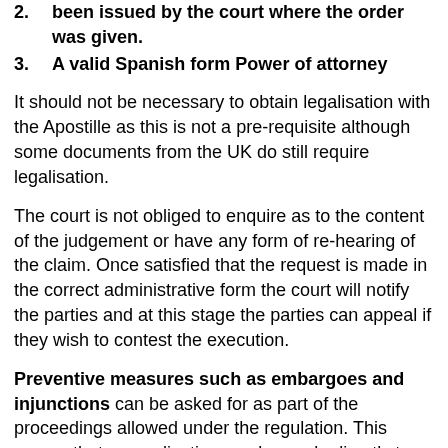2. A Certificate of European Enforcement which has been issued by the court where the order was given.
3. A valid Spanish form Power of attorney
It should not be necessary to obtain legalisation with the Apostille as this is not a pre-requisite although some documents from the UK do still require legalisation.
The court is not obliged to enquire as to the content of the judgement or have any form of re-hearing of the claim. Once satisfied that the request is made in the correct administrative form the court will notify the parties and at this stage the parties can appeal if they wish to contest the execution.
Preventive measures such as embargoes and injunctions can be asked for as part of the proceedings allowed under the regulation. This means that an application can be made directly to a Land Registry to prevent a property being sold or transferred. Subsequently an